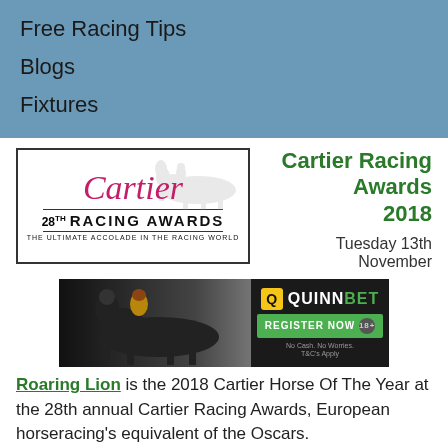Free Racing Tips
Blogs
Fixtures
[Figure (logo): Cartier 28th Racing Awards logo — The Ultimate Accolade In The Racing World]
Cartier Racing Awards 2018
Tuesday 13th November
[Figure (photo): Advertisement banner showing horse racing action alongside QuinnBet branding with Register Now button]
Roaring Lion is the 2018 Cartier Horse Of The Year at the 28th annual Cartier Racing Awards, European horseracing's equivalent of the Oscars.
Owned by Qatar Racing Limited...